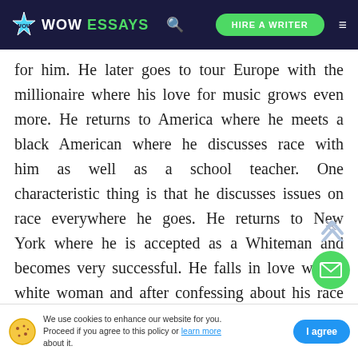WOW ESSAYS — HIRE A WRITER
for him. He later goes to tour Europe with the millionaire where his love for music grows even more. He returns to America where he meets a black American where he discusses race with him as well as a school teacher. One characteristic thing is that he discusses issues on race everywhere he goes. He returns to New York where he is accepted as a Whiteman and becomes very successful. He falls in love with a white woman and after confessing about his race to her, she flees but later returns and agrees to marry him. However, his wife die
We use cookies to enhance our website for you. Proceed if you agree to this policy or learn more about it. I agree